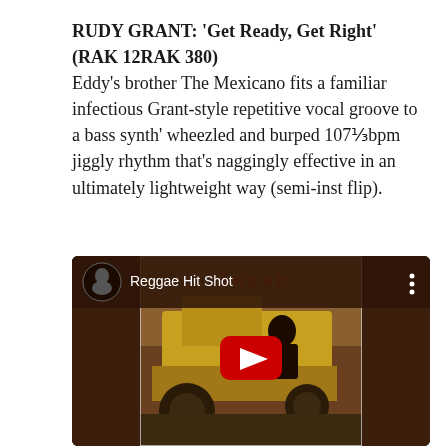RUDY GRANT: ‘Get Ready, Get Right’ (RAK 12RAK 380)
Eddy’s brother The Mexicano fits a familiar infectious Grant-style repetitive vocal groove to a bass synth’ wheezled and burped 107⅓bpm jiggly rhythm that’s naggingly effective in an ultimately lightweight way (semi-inst flip).
[Figure (screenshot): YouTube video embed showing 'Reggae Hit Shot' channel with a thumbnail of a reggae album cover featuring a person on a yellow construction vehicle, with a red YouTube play button overlay. The album shows text 'DREAD' in red letters.]